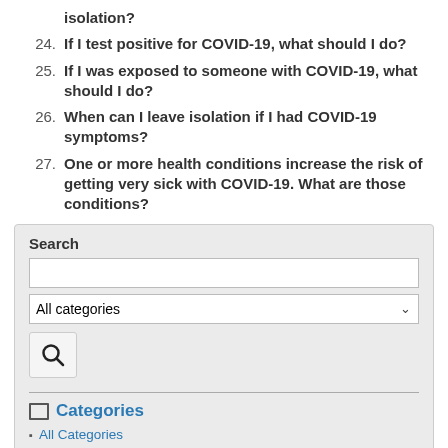isolation?
24. If I test positive for COVID-19, what should I do?
25. If I was exposed to someone with COVID-19, what should I do?
26. When can I leave isolation if I had COVID-19 symptoms?
27. One or more health conditions increase the risk of getting very sick with COVID-19. What are those conditions?
Search
Categories
All Categories
Animal Services - Kitten Foster Program
Animal Services - Tethering